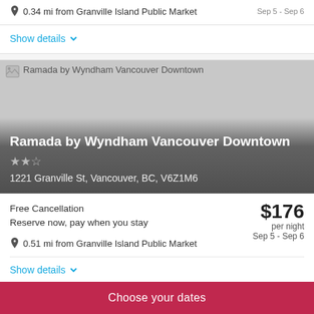0.34 mi from Granville Island Public Market
Sep 5 - Sep 6
Show details
[Figure (photo): Hotel photo placeholder for Ramada by Wyndham Vancouver Downtown]
Ramada by Wyndham Vancouver Downtown
1221 Granville St, Vancouver, BC, V6Z1M6
Free Cancellation
Reserve now, pay when you stay
$176 per night
Sep 5 - Sep 6
0.51 mi from Granville Island Public Market
Show details
Choose your dates